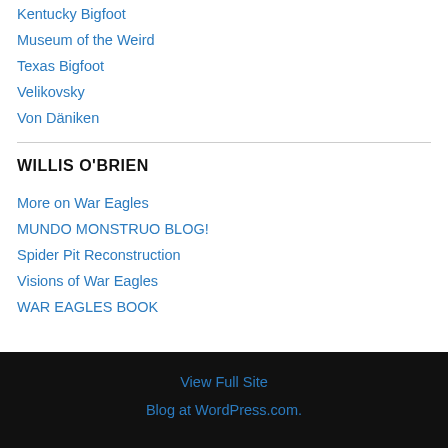Kentucky Bigfoot
Museum of the Weird
Texas Bigfoot
Velikovsky
Von Däniken
WILLIS O'BRIEN
More on War Eagles
MUNDO MONSTRUO BLOG!
Spider Pit Reconstruction
Visions of War Eagles
WAR EAGLES BOOK
View Full Site
Blog at WordPress.com.